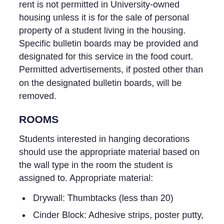rent is not permitted in University-owned housing unless it is for the sale of personal property of a student living in the housing. Specific bulletin boards may be provided and designated for this service in the food court. Permitted advertisements, if posted other than on the designated bulletin boards, will be removed.
ROOMS
Students interested in hanging decorations should use the appropriate material based on the wall type in the room the student is assigned to. Appropriate material:
Drywall: Thumbtacks (less than 20)
Cinder Block: Adhesive strips, poster putty, painters' tape